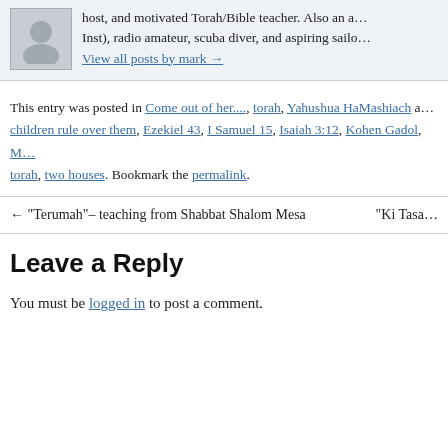[Figure (photo): Author avatar placeholder image (grey silhouette)]
host, and motivated Torah/Bible teacher. Also an a... Inst), radio amateur, scuba diver, and aspiring sailo...
View all posts by mark →
This entry was posted in Come out of her...., torah, Yahushua HaMashiach a... children rule over them, Ezekiel 43, I Samuel 15, Isaiah 3:12, Kohen Gadol, M... torah, two houses. Bookmark the permalink.
← "Terumah"– teaching from Shabbat Shalom Mesa      "Ki Tasa...
Leave a Reply
You must be logged in to post a comment.